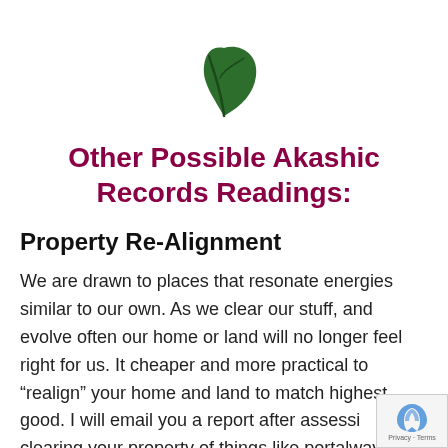[Figure (illustration): Green leaf icon centered at top of page]
Other Possible Akashic Records Readings:
Property Re-Alignment
We are drawn to places that resonate energies similar to our own. As we clear our stuff, and evolve often our home or land will no longer feel right for us. It cheaper and more practical to “realign” your home and land to match highest good. I will email you a report after assessi clearing your property of things like portalways,